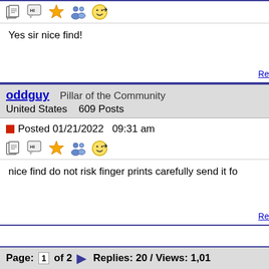[Figure (screenshot): Forum post icons row at top]
Yes sir nice find!
Re
oddguy   Pillar of the Community
United States   609 Posts
Posted 01/21/2022  09:31 am
[Figure (screenshot): Forum post action icons row]
nice find do not risk finger prints carefully send it fo
Re
Page: 1 of 2   Replies: 20 / Views: 1,01